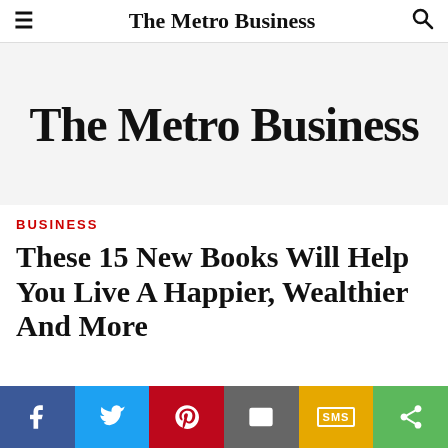The Metro Business
[Figure (logo): The Metro Business logo on light gray background]
BUSINESS
These 15 New Books Will Help You Live A Happier, Wealthier And More